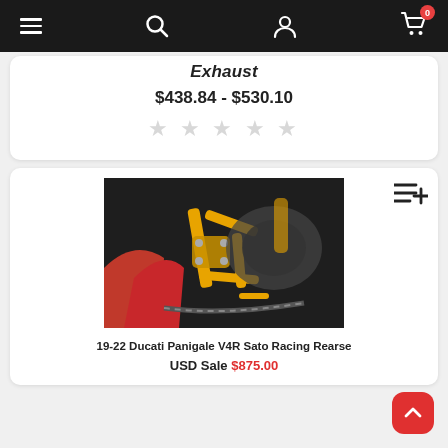Navigation bar with menu, search, user, and cart (0 items) icons
Exhaust
$438.84 - $530.10
[Figure (other): Five empty star rating icons in light gray]
[Figure (photo): Photo of gold/orange Sato Racing rearsets mounted on a red Ducati Panigale V4R motorcycle, with chain and engine visible in background]
19-22 Ducati Panigale V4R Sato Racing Rearse
USD Sale $875.00